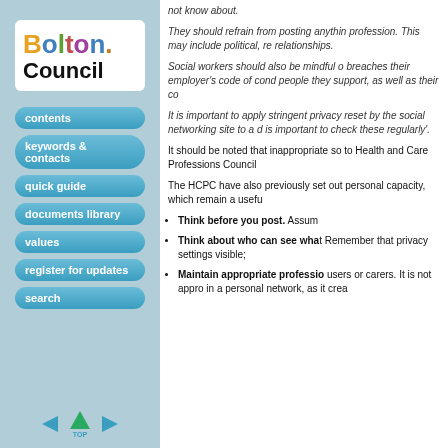[Figure (logo): Bolton Council logo with colorful letters]
contents
keywords & contacts
quick guide
documents library
values
register for updates
search
not know about.
They should refrain from posting anything profession. This may include political, re relationships.
Social workers should also be mindful o breaches their employer's code of cond people they support, as well as their co
It is important to apply stringent privacy reset by the social networking site to a d is important to check these regularly'.
It should be noted that inappropriate so to Health and Care Professions Council
The HCPC have also previously set out personal capacity, which remain a usefu
Think before you post. Assum
Think about who can see what Remember that privacy settings visible;
Maintain appropriate professio users or carers. It is not appro in a personal network, as it crea